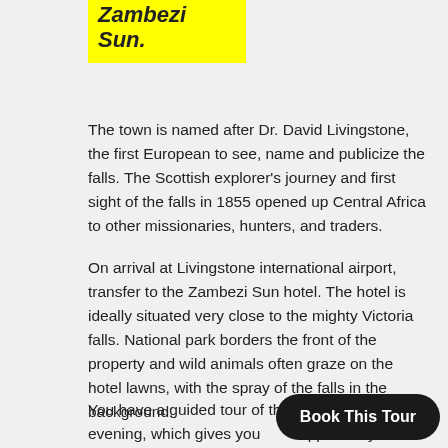Zambezi Sun.
The town is named after Dr. David Livingstone, the first European to see, name and publicize the falls. The Scottish explorer's journey and first sight of the falls in 1855 opened up Central Africa to other missionaries, hunters, and traders.
On arrival at Livingstone international airport, transfer to the Zambezi Sun hotel. The hotel is ideally situated very close to the mighty Victoria falls. National park borders the front of the property and wild animals often graze on the hotel lawns, with the spray of the falls in the background.
You have a guided tour of the in the evening, which gives you opportunity to come close to the